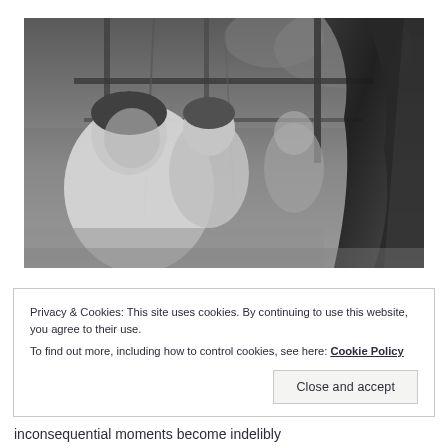[Figure (photo): Black and white photograph of a man holding a young child at what appears to be a carousel or fairground ride, with structural elements and foliage visible in the background]
Privacy & Cookies: This site uses cookies. By continuing to use this website, you agree to their use.
To find out more, including how to control cookies, see here: Cookie Policy
Close and accept
inconsequential moments become indelibly